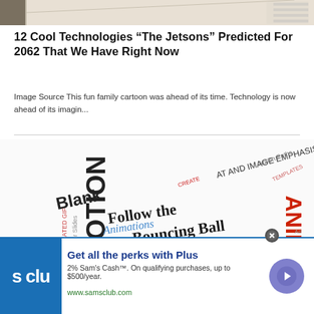[Figure (photo): Top portion of an image showing cartoon/illustrated figures, partially cropped at the top of the page]
12 Cool Technologies “The Jetsons” Predicted For 2062 That We Have Right Now
Image Source This fun family cartoon was ahead of its time. Technology is now ahead of its imagin...
[Figure (illustration): Word cloud image containing phrases like 'Follow the Bouncing Ball', 'ANIMATIONS', 'MOTION PATHS', 'AND IMAGE EMPHASIS', 'Blank Template for Video Content', 'OVER SLIDES' in various colors and orientations]
[Figure (other): Advertisement for Sam's Club Plus membership: 'Get all the perks with Plus', '2% Sam’s Cash™. On qualifying purchases, up to $500/year.', 'www.samsclub.com']